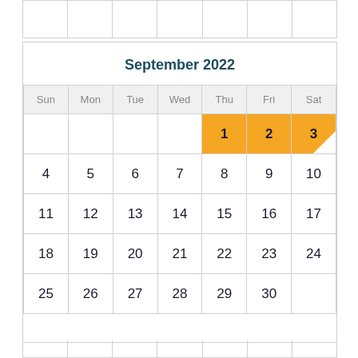[Figure (other): Calendar for September 2022 with days 1–3 highlighted in orange. Thu Sep 1, Fri Sep 2, Sat Sep 3 are highlighted. The calendar shows a full month grid with Sun–Sat columns.]
September 2022